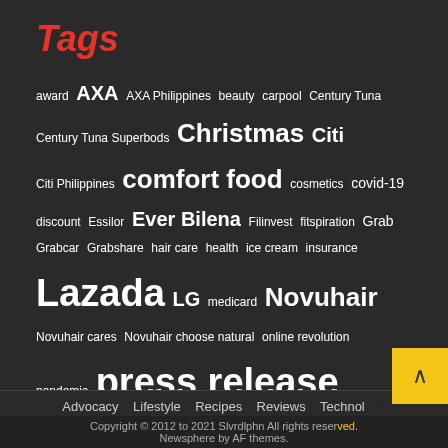Tags
award AXA AXA Philippines beauty carpool Century Tuna Century Tuna Superbods Christmas Citi Citi Philippines comfort food cosmetics covid-19 discount Essilor Ever Bilena Filinvest fitspiration Grab Grabcar Grabshare hair care health ice cream insurance Lazada LG medicard Novuhair Novuhair cares Novuhair choose natural online revolution pandemic press release promo code promotion ridesharing sale shopping SM Superbods travel Uber UberX viand
Advocacy   Lifestyle   Recipes   Reviews   Technology
Copyright © 2012 to 2021 Slvrdlphn All rights reserved. Newsphere by AF themes.